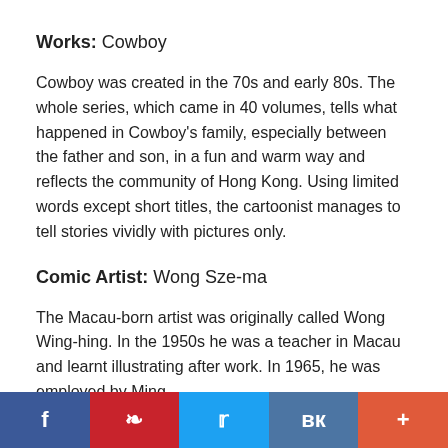Works: Cowboy
Cowboy was created in the 70s and early 80s. The whole series, which came in 40 volumes, tells what happened in Cowboy's family, especially between the father and son, in a fun and warm way and reflects the community of Hong Kong. Using limited words except short titles, the cartoonist manages to tell stories vividly with pictures only.
Comic Artist: Wong Sze-ma
The Macau-born artist was originally called Wong Wing-hing. In the 1950s he was a teacher in Macau and learnt illustrating after work. In 1965, he was employed by Ming